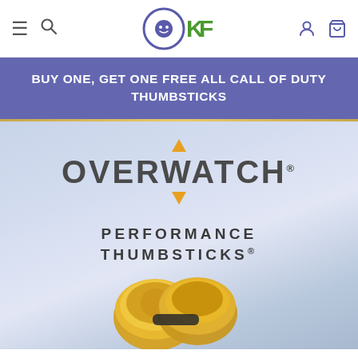OKF store navigation header with hamburger menu, search, logo, user and cart icons
BUY ONE, GET ONE FREE ALL CALL OF DUTY THUMBSTICKS
[Figure (photo): Overwatch Performance Thumbsticks product image with Overwatch logo, orange diamond accents, text PERFORMANCE THUMBSTICKS® on a light blue/purple gradient background with yellow/gold thumbsticks at the bottom]